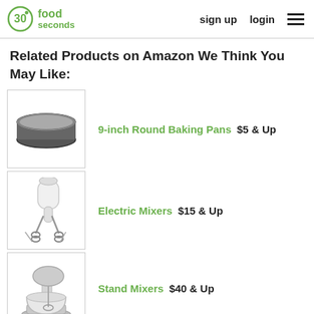30seconds food | sign up | login
Related Products on Amazon We Think You May Like:
9-inch Round Baking Pans  $5 & Up
Electric Mixers  $15 & Up
Stand Mixers  $40 & Up